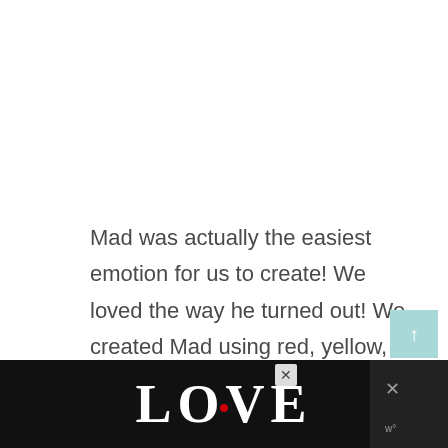Mad was actually the easiest emotion for us to create! We loved the way he turned out! We created Mad using red, yellow, orange, black, and white contraction paper.
[Figure (illustration): Advertisement banner at the bottom showing decorative 'LOVE' text in black and white ornate lettering with a red heart detail, on a black background with close/X buttons]